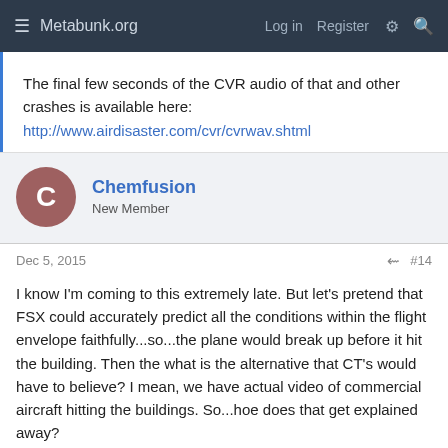Metabunk.org  Log in  Register
The final few seconds of the CVR audio of that and other crashes is available here:
http://www.airdisaster.com/cvr/cvrwav.shtml
Chemfusion
New Member
Dec 5, 2015  #14
I know I'm coming to this extremely late. But let's pretend that FSX could accurately predict all the conditions within the flight envelope faithfully...so...the plane would break up before it hit the building. Then the what is the alternative that CT's would have to believe? I mean, we have actual video of commercial aircraft hitting the buildings. So...hoe does that get explained away?